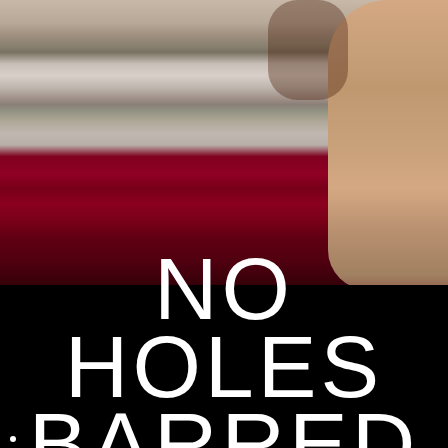[Figure (photo): Close-up photo of a person wearing a gray and dark red top, with a tattooed arm visible on the right side of the frame. The upper portion shows skin and tattoo details; lower portion is a dark crimson/red fabric.]
NO HOLES BARRED